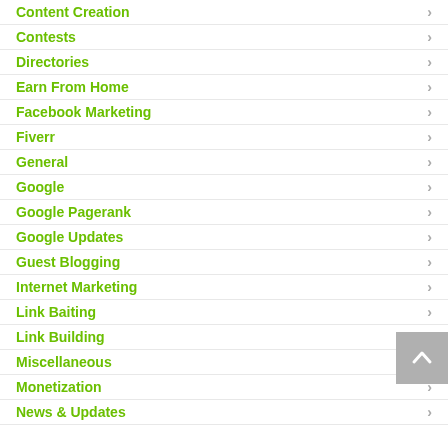Content Creation
Contests
Directories
Earn From Home
Facebook Marketing
Fiverr
General
Google
Google Pagerank
Google Updates
Guest Blogging
Internet Marketing
Link Baiting
Link Building
Miscellaneous
Monetization
News & Updates